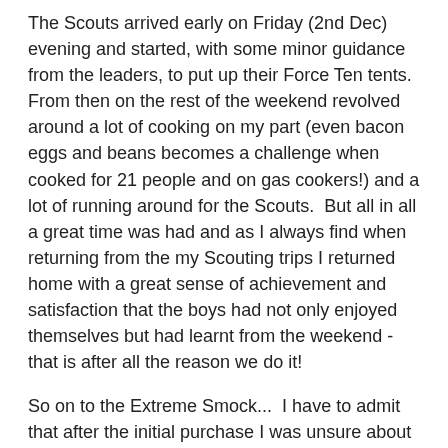The Scouts arrived early on Friday (2nd Dec) evening and started, with some minor guidance from the leaders, to put up their Force Ten tents.  From then on the rest of the weekend revolved around a lot of cooking on my part (even bacon eggs and beans becomes a challenge when cooked for 21 people and on gas cookers!) and a lot of running around for the Scouts.  But all in all a great time was had and as I always find when returning from the my Scouting trips I returned home with a great sense of achievement and satisfaction that the boys had not only enjoyed themselves but had learnt from the weekend - that is after all the reason we do it!
So on to the Extreme Smock...  I have to admit that after the initial purchase I was unsure about its usefulness to me and was going to take it back at one point - I'm so glad I didn't! The smock is designed to be worn next to skin, as a single, do everything, layer that keeps you warm and insulated regardless of the garment being wet or dry, but I have taken to wearing it with a thin base layer underneath - purely